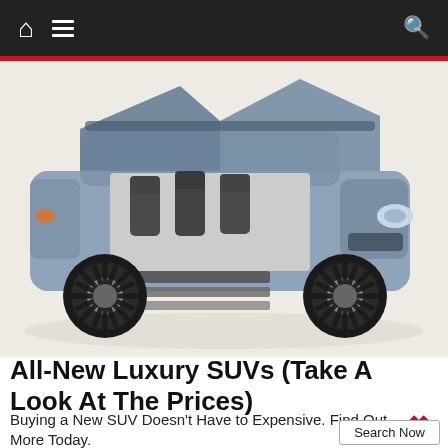Navigation bar with home, menu, and search icons
[Figure (photo): A luxury SUV concept vehicle (Lincoln Navigator concept) with gull-wing doors open showing interior seating and deployable steps, photographed from the side against a light background.]
All-New Luxury SUVs (Take A Look At The Prices)
Buying a New SUV Doesn't Have to Expensive. Find Out More Today.
Search Now